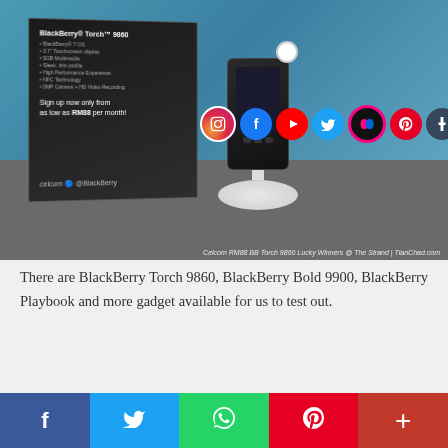[Figure (photo): Photo of BlackBerry Torch 9860 on a white display stand next to a Celcom promotional sign at The Strand event. Social media icons (Instagram, Facebook, YouTube, Twitter, Flickr, Pinterest, Tumblr, RSS) overlaid on the image. Caption reads: Celcom RM88 BB Torch 9860 Lucky Winners @ The Strand | TianChad.com]
There are BlackBerry Torch 9860, BlackBerry Bold 9900, BlackBerry Playbook and more gadget available for us to test out.
[Figure (infographic): Bottom social sharing bar with Facebook, Twitter, WhatsApp, Pinterest, and More (+) buttons]